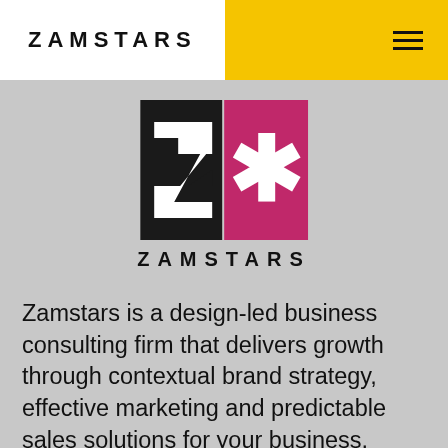ZAMSTARS
[Figure (logo): Zamstars logo: black square with white Z arrow shape on left, pink/magenta square with white asterisk on right]
ZAMSTARS
Zamstars is a design-led business consulting firm that delivers growth through contextual brand strategy, effective marketing and predictable sales solutions for your business.